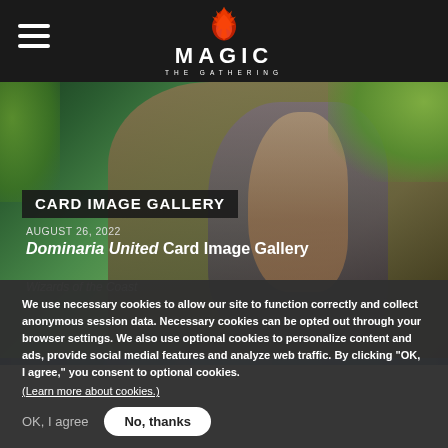Magic: The Gathering — site header with hamburger menu and logo
[Figure (illustration): Fantasy illustration of a female warrior/planeswalker with tattoos and braided hair in a forest setting — Dominaria United card art]
CARD IMAGE GALLERY
AUGUST 26, 2022
Dominaria United Card Image Gallery
Wizards of the Coast
We use necessary cookies to allow our site to function correctly and collect anonymous session data. Necessary cookies can be opted out through your browser settings. We also use optional cookies to personalize content and ads, provide social medial features and analyze web traffic. By clicking “OK, I agree,” you consent to optional cookies.
(Learn more about cookies.)